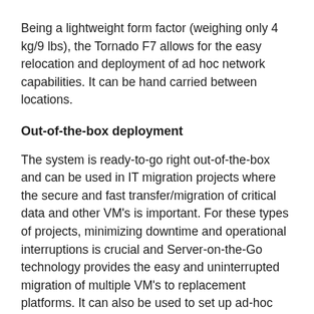Being a lightweight form factor (weighing only 4 kg/9 lbs), the Tornado F7 allows for the easy relocation and deployment of ad hoc network capabilities. It can be hand carried between locations.
Out-of-the-box deployment
The system is ready-to-go right out-of-the-box and can be used in IT migration projects where the secure and fast transfer/migration of critical data and other VM's is important. For these types of projects, minimizing downtime and operational interruptions is crucial and Server-on-the-Go technology provides the easy and uninterrupted migration of multiple VM's to replacement platforms. It can also be used to set up ad-hoc installations on-the-fly, or as required, without the need to set up a permanent network infrastructure. This is a great tool for start-ups and other businesses that need a flexible-yet-secure network infrastructure.